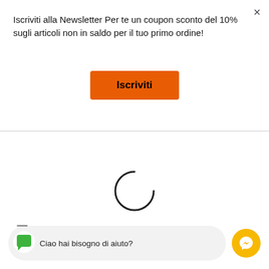Iscriviti alla Newsletter Per te un coupon sconto del 10% sugli articoli non in saldo per il tuo primo ordine!
[Figure (screenshot): Orange 'Iscriviti' button]
[Figure (other): Loading spinner (partial circle arc)]
Ciao hai bisogno di aiuto?
[Figure (other): Messenger chat button (yellow circle with messenger icon)]